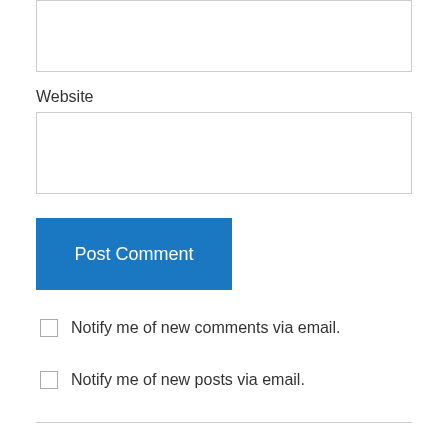Website
Post Comment
Notify me of new comments via email.
Notify me of new posts via email.
Recent Posts
OCR Kentucky Disaster Relief and Resources
Unemployment Rose Slightly Last Week
Protect Remote Desktop Protocols From Malware Threat
Providers Should Use Care To Comply With New OCR HIPAA